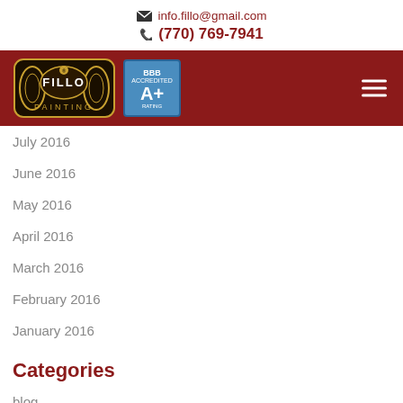info.fillo@gmail.com  (770) 769-7941
[Figure (logo): Fillo Painting logo and BBB A+ badge on dark red navigation bar with hamburger menu icon]
July 2016
June 2016
May 2016
April 2016
March 2016
February 2016
January 2016
Categories
blog
Commercial Painting